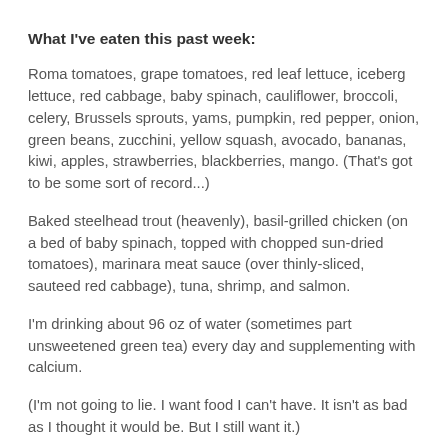What I've eaten this past week:
Roma tomatoes, grape tomatoes, red leaf lettuce, iceberg lettuce, red cabbage, baby spinach, cauliflower, broccoli, celery, Brussels sprouts, yams, pumpkin, red pepper, onion, green beans, zucchini, yellow squash, avocado, bananas, kiwi, apples, strawberries, blackberries, mango. (That's got to be some sort of record...)
Baked steelhead trout (heavenly), basil-grilled chicken (on a bed of baby spinach, topped with chopped sun-dried tomatoes), marinara meat sauce (over thinly-sliced, sauteed red cabbage), tuna, shrimp, and salmon.
I'm drinking about 96 oz of water (sometimes part unsweetened green tea) every day and supplementing with calcium.
(I'm not going to lie. I want food I can't have. It isn't as bad as I thought it would be. But I still want it.)
Do you feel sorry for me, yet?